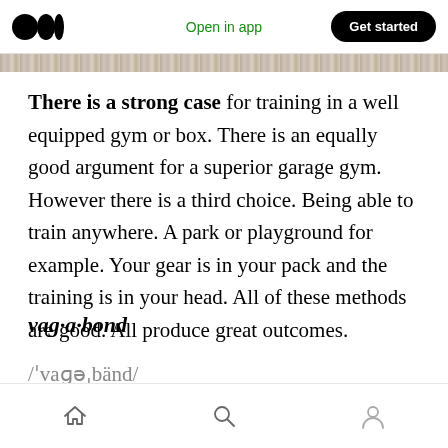Open in app | Get started
There is a strong case for training in a well equipped gym or box. There is an equally good argument for a superior garage gym. However there is a third choice. Being able to train anywhere. A park or playground for example. Your gear is in your pack and the training is in your head. All of these methods are good. All produce great outcomes.
vag·a·bond
/ˈvaɡəˌbänd/
Home | Search | Profile